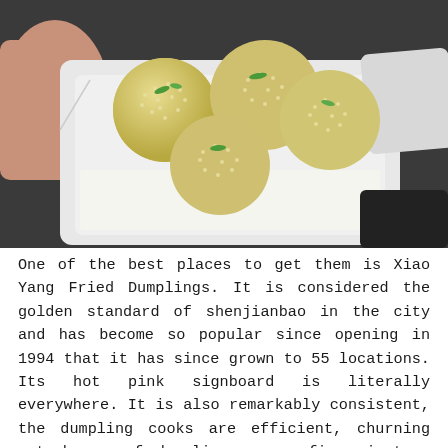[Figure (photo): A hand holding a white styrofoam takeout container filled with several pan-fried sesame-crusted buns (shenjianbao) topped with green onion pieces, viewed from above.]
One of the best places to get them is Xiao Yang Fried Dumplings. It is considered the golden standard of shenjianbao in the city and has become so popular since opening in 1994 that it has since grown to 55 locations. Its hot pink signboard is literally everywhere. It is also remarkably consistent, the dumpling cooks are efficient, churning out dozens of dumplings every five minutes. The lines may be long, especially at the Huanghe Road location across from Jia Jia, but it moves fast and you'll always get baos